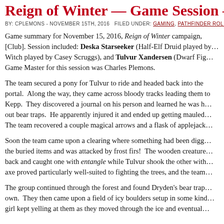Reign of Winter — Game Session —
BY: CPLEMONS - NOVEMBER 15TH, 2016   FILED UNDER: GAMING, PATHFINDER ROL…
Game summary for November 15, 2016, Reign of Winter campaign, [Club]. Session included: Deska Starseeker (Half-Elf Druid played by…), Witch played by Casey Scruggs), and Tulvur Xandersen (Dwarf Fig…). Game Master for this session was Charles Plemons.
The team secured a pony for Tulvur to ride and headed back into the portal. Along the way, they came across bloody tracks leading them to Kepp. They discovered a journal on his person and learned he was h… out bear traps. He apparently injured it and ended up getting mauled… The team recovered a couple magical arrows and a flask of applejack…
Soon the team came upon a clearing where something had been digg… the buried items and was attacked by frost firs! The wooden creature… back and caught one with entangle while Tulvur shook the other with… axe proved particularly well-suited to fighting the trees, and the team…
The group continued through the forest and found Dryden's bear trap… own. They then came upon a field of icy boulders setup in some kind… girl kept yelling at them as they moved through the ice and eventual…